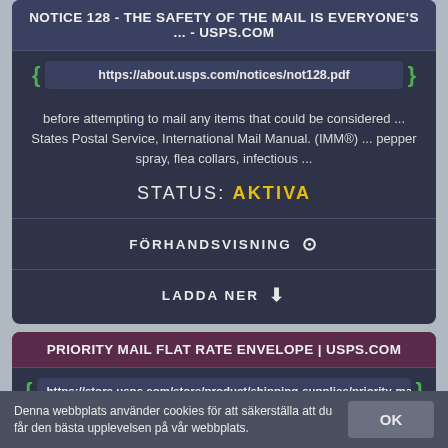NOTICE 128 - THE SAFETY OF THE MAIL IS EVERYONE'S ... - USPS.COM
https://about.usps.com/notices/not128.pdf
before attempting to mail any items that could be considered ... States Postal Service, International Mail Manual. (IMM®) ... pepper spray, flea collars, infectious ...
STATUS: AKTIVA
FÖRHANDSVISNING 👁
LADDA NER ⬇
PRIORITY MAIL FLAT RATE ENVELOPE | USPS.COM
https://store.usps.com/store/product/shipping-supplies/priority-mail-fla
Denna webbplats använder cookies för att säkerställa att du får den bästa upplevelsen på vår webbplats.
OK